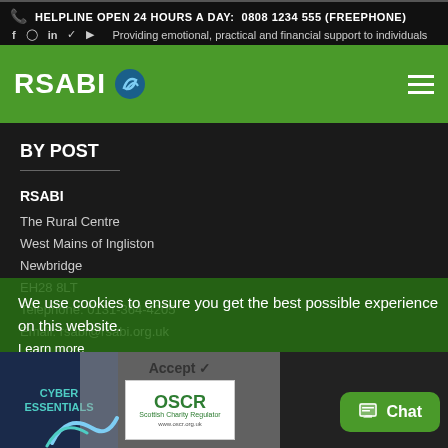HELPLINE OPEN 24 HOURS A DAY: 0808 1234 555 (FREEPHONE)
Providing emotional, practical and financial support to individuals
[Figure (logo): RSABI logo with green swirl icon on green navigation bar]
BY POST
RSABI
The Rural Centre
West Mains of Ingliston
Newbridge
EH28 8LT
Telephone: 0131-364-4205
Email: rsabi@rsabi.org.uk
We use cookies to ensure you get the best possible experience on this website.
Learn more
[Figure (logo): Cyber Essentials badge, OSCR Scottish Charity Regulator logo, and Chat button at the bottom]
Accept ✓